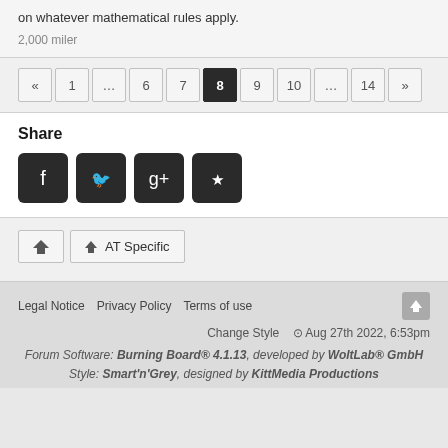on whatever mathematical rules apply.
2,000 miler
Pagination: « 1 … 6 7 8 9 10 … 14 »
Share
Social share icons: Facebook, Twitter, Google+, Reddit
Navigation: Home | ↑ AT Specific
Legal Notice  Privacy Policy  Terms of use
Change Style  Aug 27th 2022, 6:53pm
Forum Software: Burning Board® 4.1.13, developed by WoltLab® GmbH
Style: Smart'n'Grey, designed by KittMedia Productions